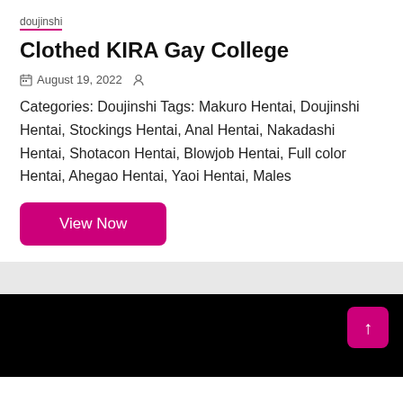doujinshi
Clothed KIRA Gay College
August 19, 2022
Categories: Doujinshi Tags: Makuro Hentai, Doujinshi Hentai, Stockings Hentai, Anal Hentai, Nakadashi Hentai, Shotacon Hentai, Blowjob Hentai, Full color Hentai, Ahegao Hentai, Yaoi Hentai, Males
View Now
[Figure (other): Black background section with a pink back-to-top arrow button in the bottom right corner]